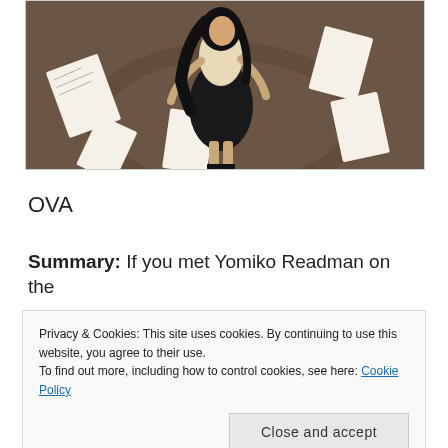[Figure (illustration): Anime-style illustration of a female character with long black hair wearing a white/cream top and black skirt, surrounded by scattered sketch papers on a brown tiled floor background]
OVA
Summary: If you met Yomiko Readman on the
Privacy & Cookies: This site uses cookies. By continuing to use this website, you agree to their use.
To find out more, including how to control cookies, see here: Cookie Policy
Close and accept